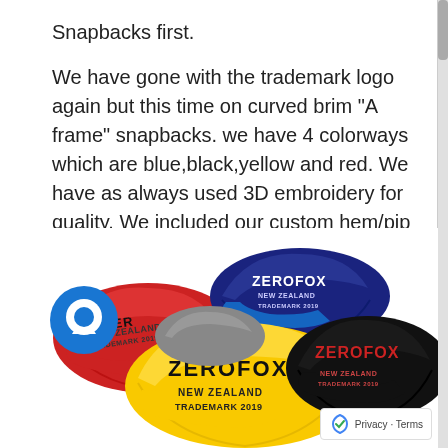Snapbacks first.
We have gone with the trademark logo again but this time on curved brim "A frame" snapbacks. we have 4 colorways which are blue,black,yellow and red. We have as always used 3D embroidery for quality. We included our custom hem/pip tag on the back. Each caps under brim color matches the embroidery color for detail.
[Figure (photo): Photo of four Zerofox branded snapback caps in red, blue, yellow, and black colorways, each showing the Zerofox New Zealand Trademark 2019 embroidered logo. A blue chat bubble icon is visible in the lower left. A Google reCAPTCHA icon and Privacy-Terms badge appear in the lower right.]